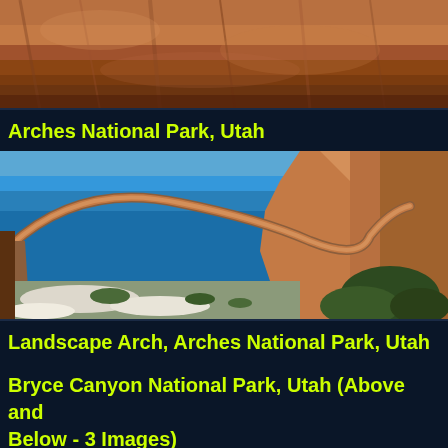[Figure (photo): Red rock cliff face and canyon wall at Arches National Park, Utah — close-up of sandstone formations]
Arches National Park, Utah
[Figure (photo): Landscape Arch — a thin sweeping natural stone arch spanning against a blue sky with snow-dusted ground and desert vegetation below, at Arches National Park, Utah]
Landscape Arch, Arches National Park, Utah
Bryce Canyon National Park, Utah (Above and Below - 3 Images)